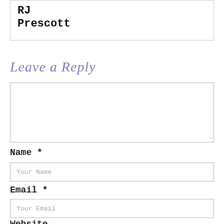RJ
Prescott
Leave a Reply
Your Comment Here...
Name *
Your Name
Email *
Your Email
Website